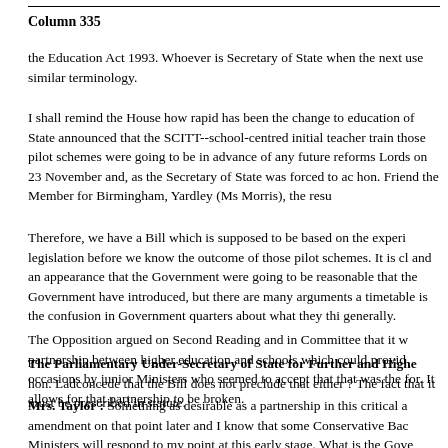Column 335
the Education Act 1993. Whoever is Secretary of State when the next use similar terminology.
I shall remind the House how rapid has been the change to education of State announced that the SCITT--school-centred initial teacher train those pilot schemes were going to be in advance of any future reforms Lords on 23 November and, as the Secretary of State was forced to ac hon. Friend the Member for Birmingham, Yardley (Ms Morris), the resu
Therefore, we have a Bill which is supposed to be based on the experi legislation before we know the outcome of those pilot schemes. It is cl and an appearance that the Government were going to be reasonable that the Government have introduced, but there are many arguments a timetable is the confusion in Government quarters about what they thi generally.
The Opposition argued on Second Reading and in Committee that it w partnership between higher education and schools which could provid occasions by junior Ministers who seemed to accept that that was the for. It allows for that partnership to be broken.
The Parliamentary Under-Secretary of State for Further and Highe hon. Ladconcede that the Bill does not preclude that either ? The fact that it must be prescribed in statute.
Mrs. Taylor : Something as desirable as a partnership in this critical a amendment on that point later and I know that some Conservative Bac Ministers will respond to my point at this early stage. What is the Gove